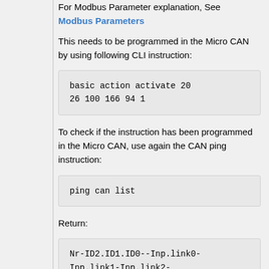For Modbus Parameter explanation, See Modbus Parameters
This needs to be programmed in the Micro CAN by using following CLI instruction:
To check if the instruction has been programmed in the Micro CAN, use again the CAN ping instruction:
Return: